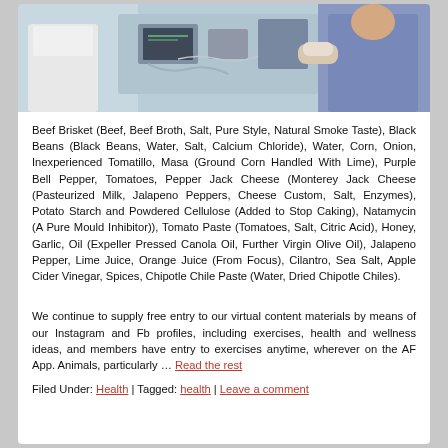[Figure (photo): Medical scene showing healthcare workers in scrubs/lab coats with medical equipment]
Beef Brisket (Beef, Beef Broth, Salt, Pure Style, Natural Smoke Taste), Black Beans (Black Beans, Water, Salt, Calcium Chloride), Water, Corn, Onion, Inexperienced Tomatillo, Masa (Ground Corn Handled With Lime), Purple Bell Pepper, Tomatoes, Pepper Jack Cheese (Monterey Jack Cheese (Pasteurized Milk, Jalapeno Peppers, Cheese Custom, Salt, Enzymes), Potato Starch and Powdered Cellulose (Added to Stop Caking), Natamycin (A Pure Mould Inhibitor)), Tomato Paste (Tomatoes, Salt, Citric Acid), Honey, Garlic, Oil (Expeller Pressed Canola Oil, Further Virgin Olive Oil), Jalapeno Pepper, Lime Juice, Orange Juice (From Focus), Cilantro, Sea Salt, Apple Cider Vinegar, Spices, Chipotle Chile Paste (Water, Dried Chipotle Chiles).
We continue to supply free entry to our virtual content materials by means of our Instagram and Fb profiles, including exercises, health and wellness ideas, and members have entry to exercises anytime, wherever on the AF App. Animals, particularly … Read the rest
Filed Under: Health | Tagged: health | Leave a comment